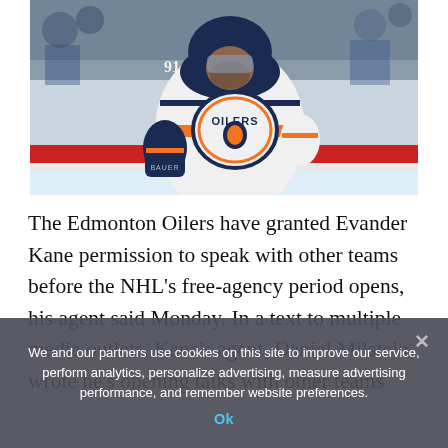[Figure (photo): Evander Kane wearing Edmonton Oilers white jersey number 91, skating on ice during an NHL game, with Bauer gloves visible and fans in background]
The Edmonton Oilers have granted Evander Kane permission to speak with other teams before the NHL's free-agency period opens, his agent said Monday. In a text to multiple media outlets, Kane's agent, Daniel Milstein, wrote he's opening talks with other teams
We and our partners use cookies on this site to improve our service, perform analytics, personalize advertising, measure advertising performance, and remember website preferences.
Ok